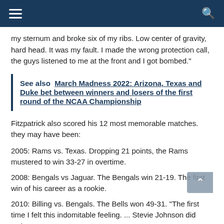Navigation bar with hamburger menu and search icon
my sternum and broke six of my ribs. Low center of gravity, hard head. It was my fault. I made the wrong protection call, the guys listened to me at the front and I got bombed."
See also  March Madness 2022: Arizona, Texas and Duke bet between winners and losers of the first round of the NCAA Championship
Fitzpatrick also scored his 12 most memorable matches. they may have been:
2005: Rams vs. Texas. Dropping 21 points, the Rams mustered to win 33-27 in overtime.
2008: Bengals vs Jaguar. The Bengals win 21-19. The first win of his career as a rookie.
2010: Billing vs. Bengals. The Bells won 49-31. "The first time I felt this indomitable feeling. ... Stevie Johnson did "Why so